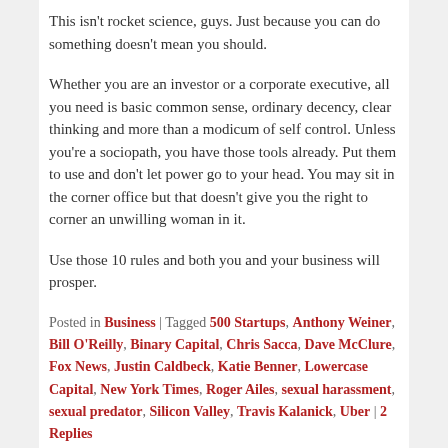This isn't rocket science, guys. Just because you can do something doesn't mean you should.
Whether you are an investor or a corporate executive, all you need is basic common sense, ordinary decency, clear thinking and more than a modicum of self control. Unless you're a sociopath, you have those tools already. Put them to use and don't let power go to your head. You may sit in the corner office but that doesn't give you the right to corner an unwilling woman in it.
Use those 10 rules and both you and your business will prosper.
Posted in Business | Tagged 500 Startups, Anthony Weiner, Bill O'Reilly, Binary Capital, Chris Sacca, Dave McClure, Fox News, Justin Caldbeck, Katie Benner, Lowercase Capital, New York Times, Roger Ailes, sexual harassment, sexual predator, Silicon Valley, Travis Kalanick, Uber | 2 Replies